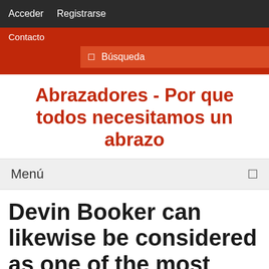Acceder   Registrarse
Contacto
Búsqueda
Abrazadores - Por que todos necesitamos un abrazo
Menú
Devin Booker can likewise be considered as one of the most outstanding NBA 2K22